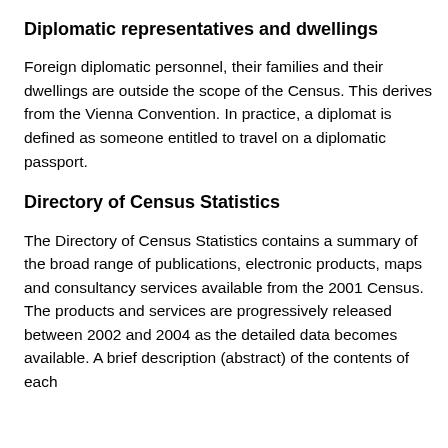Diplomatic representatives and dwellings
Foreign diplomatic personnel, their families and their dwellings are outside the scope of the Census. This derives from the Vienna Convention. In practice, a diplomat is defined as someone entitled to travel on a diplomatic passport.
Directory of Census Statistics
The Directory of Census Statistics contains a summary of the broad range of publications, electronic products, maps and consultancy services available from the 2001 Census. The products and services are progressively released between 2002 and 2004 as the detailed data becomes available. A brief description (abstract) of the contents of each